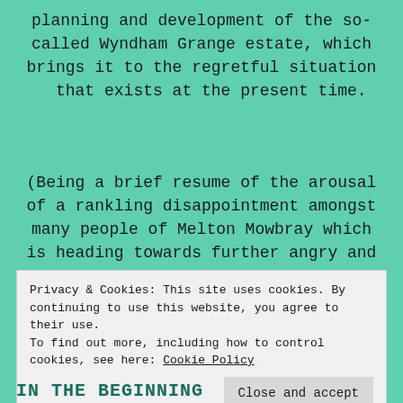planning and development of the so-called Wyndham Grange estate, which brings it to the regretful situation that exists at the present time.
(Being a brief resume of the arousal of a rankling disappointment amongst many people of Melton Mowbray which is heading towards further angry and
Privacy & Cookies: This site uses cookies. By continuing to use this website, you agree to their use.
To find out more, including how to control cookies, see here: Cookie Policy
Close and accept
IN THE BEGINNING